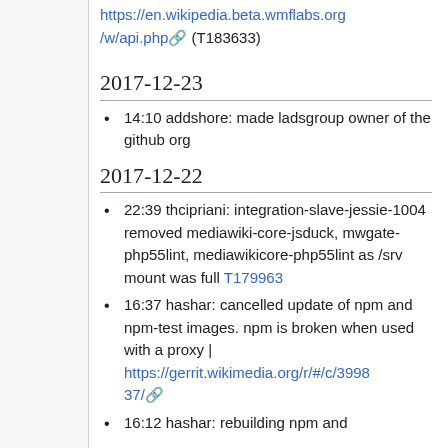https://en.wikipedia.beta.wmflabs.org/w/api.php (T183633)
2017-12-23
14:10 addshore: made ladsgroup owner of the github org
2017-12-22
22:39 thcipriani: integration-slave-jessie-1004 removed mediawiki-core-jsduck, mwgate-php55lint, mediawikicore-php55lint as /srv mount was full T179963
16:37 hashar: cancelled update of npm and npm-test images. npm is broken when used with a proxy | https://gerrit.wikimedia.org/r/#/c/399837/
16:12 hashar: rebuilding npm and